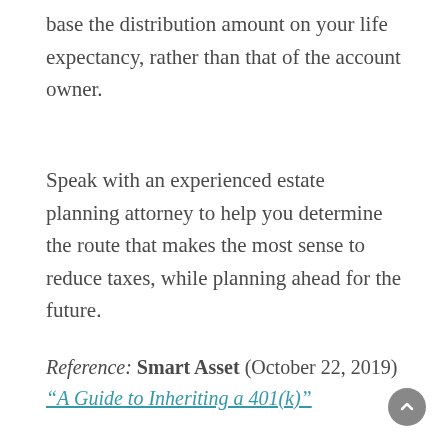base the distribution amount on your life expectancy, rather than that of the account owner.
Speak with an experienced estate planning attorney to help you determine the route that makes the most sense to reduce taxes, while planning ahead for the future.
Reference: Smart Asset (October 22, 2019) "A Guide to Inheriting a 401(k)"